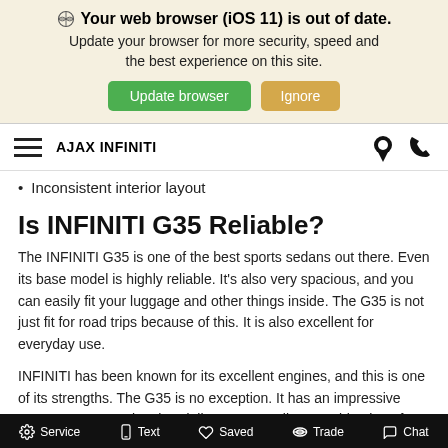Your web browser (iOS 11) is out of date. Update your browser for more security, speed and the best experience on this site. Update browser | Ignore
AJAX INFINITI
Inconsistent interior layout
Is INFINITI G35 Reliable?
The INFINITI G35 is one of the best sports sedans out there. Even its base model is highly reliable. It's also very spacious, and you can easily fit your luggage and other things inside. The G35 is not just fit for road trips because of this. It is also excellent for everyday use.
INFINITI has been known for its excellent engines, and this is one of its strengths. The G35 is no exception. It has an impressive 3.5L VQ35HR engine that delivers an excellent combination of power and
Service | Text | Saved | Trade | Chat